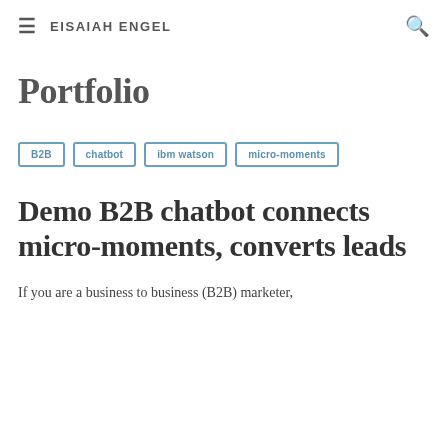EISAIAH ENGEL
Portfolio
B2B
chatbot
ibm watson
micro-moments
Demo B2B chatbot connects micro-moments, converts leads
If you are a business to business (B2B) marketer,